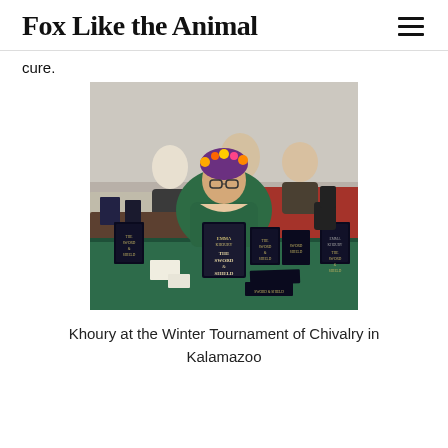Fox Like the Animal
cure.
[Figure (photo): A woman with glasses and a flower crown wearing a green off-shoulder dress sits behind a table covered with a green tablecloth at the Winter Tournament of Chivalry in Kalamazoo. She is holding a book titled 'The Sword & Shield' by Emma Khoury. Multiple copies of the book are displayed on the table in front of her. Other people and vendor tables are visible in the background.]
Khoury at the Winter Tournament of Chivalry in Kalamazoo